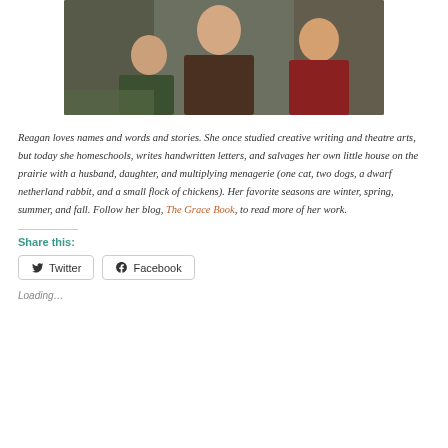[Figure (photo): Photo of family members including a young girl with blonde hair smiling, with adults behind her, outdoors]
Reagan loves names and words and stories. She once studied creative writing and theatre arts, but today she homeschools, writes handwritten letters, and salvages her own little house on the prairie with a husband, daughter, and multiplying menagerie (one cat, two dogs, a dwarf netherland rabbit, and a small flock of chickens). Her favorite seasons are winter, spring, summer, and fall. Follow her blog, The Grace Book, to read more of her work.
Share this:
Twitter
Facebook
Loading...